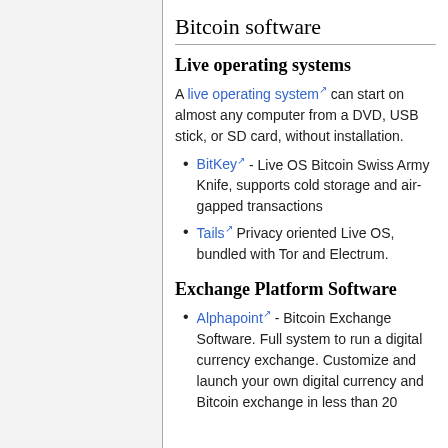Bitcoin software
Live operating systems
A live operating system can start on almost any computer from a DVD, USB stick, or SD card, without installation.
BitKey - Live OS Bitcoin Swiss Army Knife, supports cold storage and air-gapped transactions
Tails Privacy oriented Live OS, bundled with Tor and Electrum.
Exchange Platform Software
Alphapoint - Bitcoin Exchange Software. Full system to run a digital currency exchange. Customize and launch your own digital currency and Bitcoin exchange in less than 20 days with Alphapoint. No...